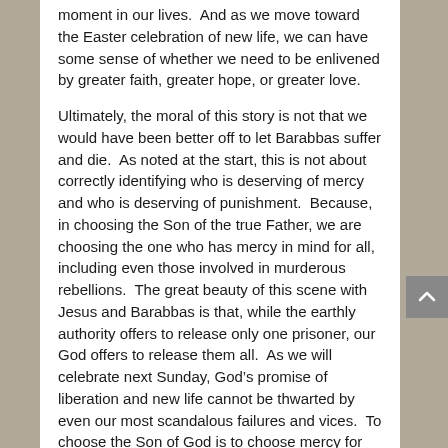moment in our lives.  And as we move toward the Easter celebration of new life, we can have some sense of whether we need to be enlivened by greater faith, greater hope, or greater love.
Ultimately, the moral of this story is not that we would have been better off to let Barabbas suffer and die.  As noted at the start, this is not about correctly identifying who is deserving of mercy and who is deserving of punishment.  Because, in choosing the Son of the true Father, we are choosing the one who has mercy in mind for all, including even those involved in murderous rebellions.  The great beauty of this scene with Jesus and Barabbas is that, while the earthly authority offers to release only one prisoner, our God offers to release them all.  As we will celebrate next Sunday, God’s promise of liberation and new life cannot be thwarted by even our most scandalous failures and vices.  To choose the Son of God is to choose mercy for the